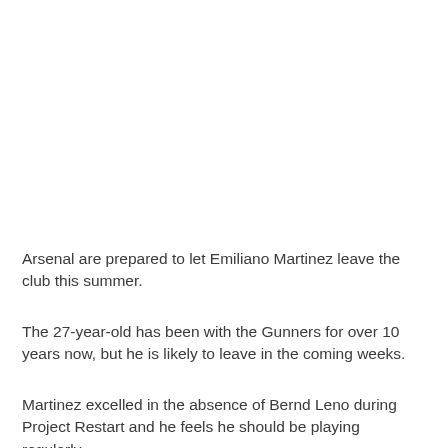Arsenal are prepared to let Emiliano Martinez leave the club this summer.
The 27-year-old has been with the Gunners for over 10 years now, but he is likely to leave in the coming weeks.
Martinez excelled in the absence of Bernd Leno during Project Restart and he feels he should be playing regularly,